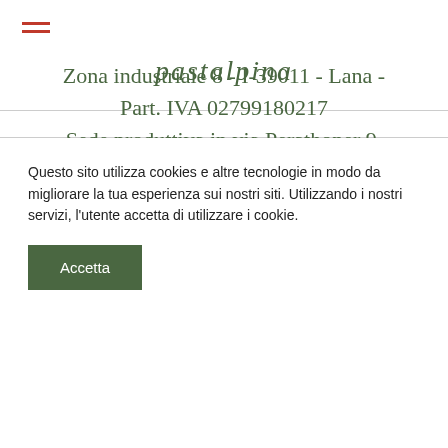[Figure (logo): Hamburger menu icon (three horizontal red lines) in top left corner]
pastalpina
Zona industriale 8 - I-39011 - Lana - Part. IVA 02799180217
Sede produttiva in via Perathoner 9, 39100 Bolzano
Questo sito utilizza cookies e altre tecnologie in modo da migliorare la tua esperienza sui nostri siti. Utilizzando i nostri servizi, l'utente accetta di utilizzare i cookie.
Accetta